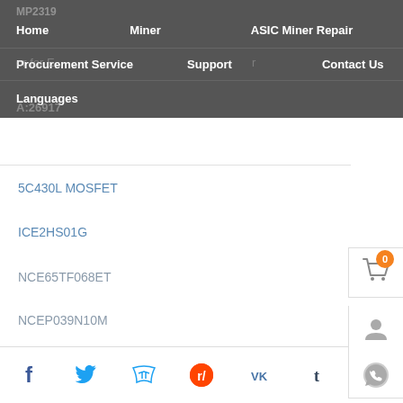Home | Miner | ASIC Miner Repair | Integrated Circuit | Procurement Service | Support | Contact Us | Languages
5C430L MOSFET
ICE2HS01G
NCE65TF068ET
NCEP039N10M
Category 5e 8-core Gigabit Ethernet cable
NCE40H12
Facebook | Twitter | Reddit | VK | Tumblr | WhatsApp